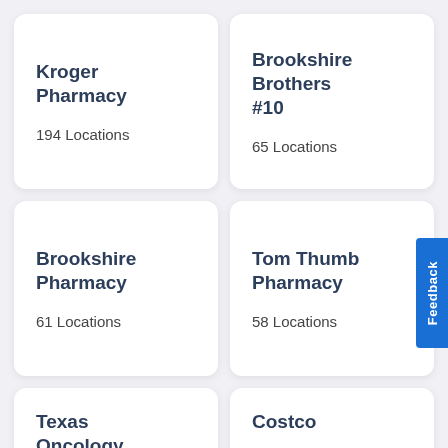Kroger Pharmacy
194 Locations
Brookshire Brothers #10
65 Locations
Brookshire Pharmacy
61 Locations
Tom Thumb Pharmacy
58 Locations
Texas Oncology Pharmacy
Costco